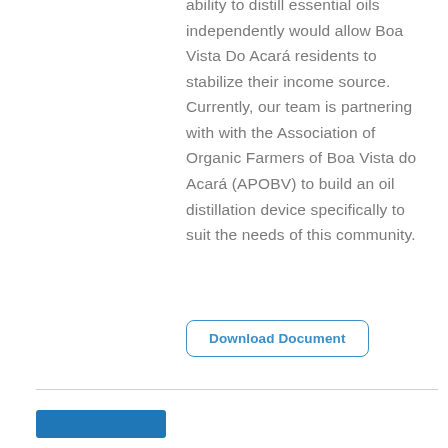ability to distill essential oils independently would allow Boa Vista Do Acará residents to stabilize their income source. Currently, our team is partnering with with the Association of Organic Farmers of Boa Vista do Acará (APOBV) to build an oil distillation device specifically to suit the needs of this community.
Download Document